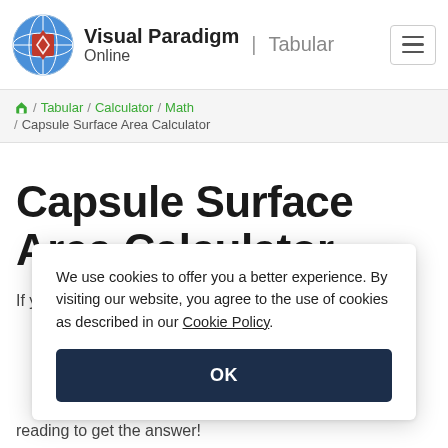Visual Paradigm Online | Tabular
Home / Tabular / Calculator / Math / Capsule Surface Area Calculator
Capsule Surface Area Calculator
If you ever had problems with remembering
We use cookies to offer you a better experience. By visiting our website, you agree to the use of cookies as described in our Cookie Policy.
OK
reading to get the answer!